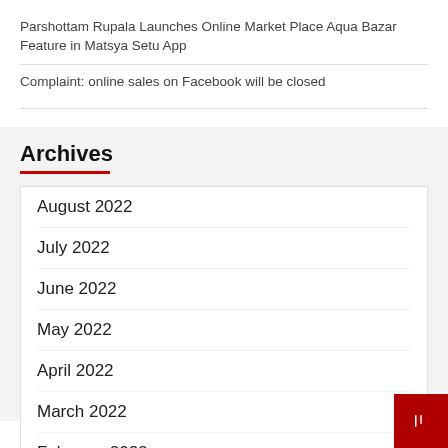Parshottam Rupala Launches Online Market Place Aqua Bazar Feature in Matsya Setu App
Complaint: online sales on Facebook will be closed
Archives
August 2022
July 2022
June 2022
May 2022
April 2022
March 2022
February 2022
January 2022